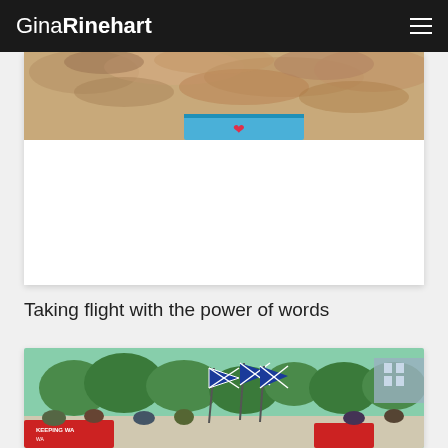GinaRinehart
[Figure (photo): Partial photo showing sandy/rocky terrain with a blue book or sign visible at the bottom edge]
[Figure (photo): Outdoor scene with people holding blue and red flags/banners at what appears to be a rally or demonstration, trees in background, urban setting]
Taking flight with the power of words